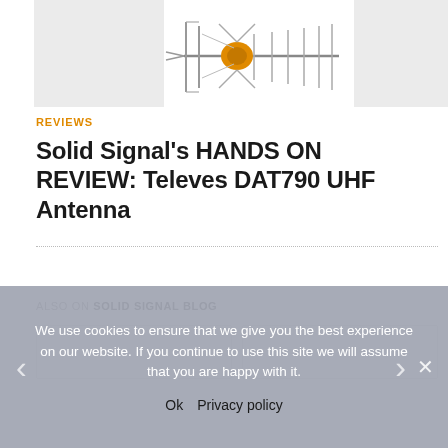[Figure (illustration): Televes DAT790 UHF antenna illustration — a directional Yagi-type antenna with orange/amber LNB element, metallic grey reflector bars and crossed dipole elements, shown on white background between two grey placeholder boxes]
REVIEWS
Solid Signal's HANDS ON REVIEW: Televes DAT790 UHF Antenna
ALSO ON SOLID SIGNAL BLOG
We use cookies to ensure that we give you the best experience on our website. If you continue to use this site we will assume that you are happy with it.
Ok   Privacy policy